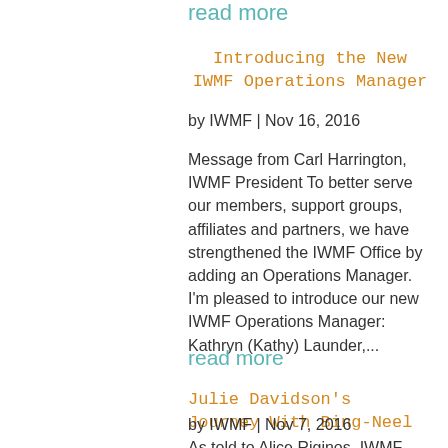read more
Introducing the New IWMF Operations Manager
by IWMF | Nov 16, 2016
Message from Carl Harrington, IWMF President To better serve our members, support groups, affiliates and partners, we have strengthened the IWMF Office by adding an Operations Manager. I'm pleased to introduce our new IWMF Operations Manager: Kathryn (Kathy) Launder,...
read more
Julie Davidson's Journey With Bing-Neel
by IWMF | Nov 7, 2016
As told to Alice Riginos, IWMF